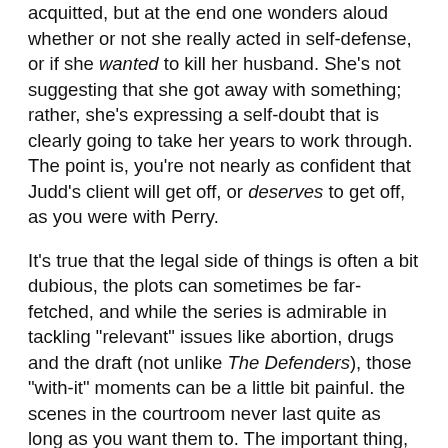acquitted, but at the end one wonders aloud whether or not she really acted in self-defense, or if she wanted to kill her husband. She's not suggesting that she got away with something; rather, she's expressing a self-doubt that is clearly going to take her years to work through. The point is, you're not nearly as confident that Judd's client will get off, or deserves to get off, as you were with Perry.
It's true that the legal side of things is often a bit dubious, the plots can sometimes be far-fetched, and while the series is admirable in tackling "relevant" issues like abortion, drugs and the draft (not unlike The Defenders), those "with-it" moments can be a little bit painful. the scenes in the courtroom never last quite as long as you want them to. The important thing, though, is that they're entertaining; you won't be bored watching them.
Most of all, Judd is about Carl Betz, who is just terrific. I'm not enough of an expert on Donna Reed to tell whether or not he ever flashed these glimpses of edgy toughness, but watching him, you believe he's a man of integrity, committed to justice, and willing to do whatever it takes to achieve it for his client, even when he's pushing the envelope. You find